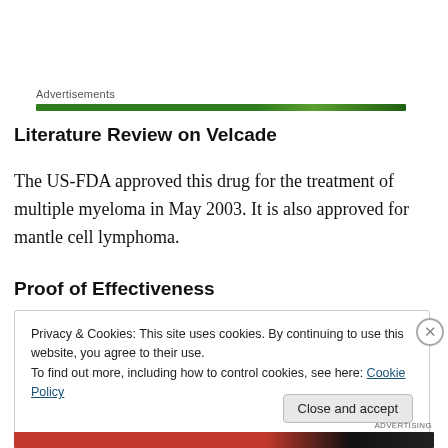Advertisements
Literature Review on Velcade
The US-FDA approved this drug for the treatment of multiple myeloma in May 2003. It is also approved for mantle cell lymphoma.
Proof of Effectiveness
Privacy & Cookies: This site uses cookies. By continuing to use this website, you agree to their use.
To find out more, including how to control cookies, see here: Cookie Policy